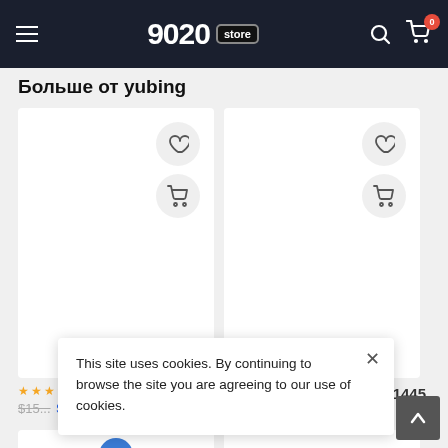9020 store
Больше от yubing
[Figure (screenshot): Product card 1 - white background with heart wishlist icon and shopping cart icon]
[Figure (screenshot): Product card 2 - white background with heart wishlist icon and shopping cart icon]
1445
This site uses cookies. By continuing to browse the site you are agreeing to our use of cookies.
[Figure (screenshot): Bottom product card with blue circular element visible]